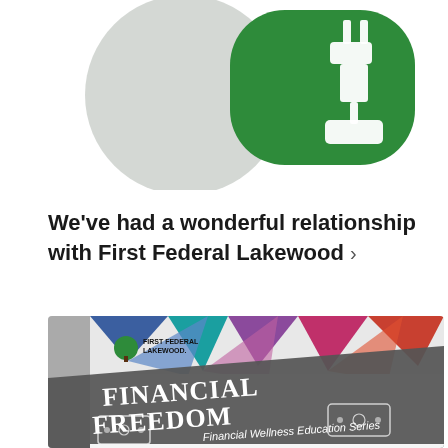[Figure (illustration): Partial green icon/logo with white plug or connector symbol on a green rounded rectangle shape with grey circle partially visible behind it, cropped at top of page]
We've had a wonderful relationship with First Federal Lakewood ›
[Figure (photo): Photo of a brochure or card for 'Financial Freedom - Financial Wellness Education Series' by First Federal Lakewood, with colorful geometric triangles in background and grey diagonal banner with large decorative text 'FINANCIAL FREEDOM' and smaller italic text 'Financial Wellness Education Series', First Federal Lakewood logo in upper left of brochure]